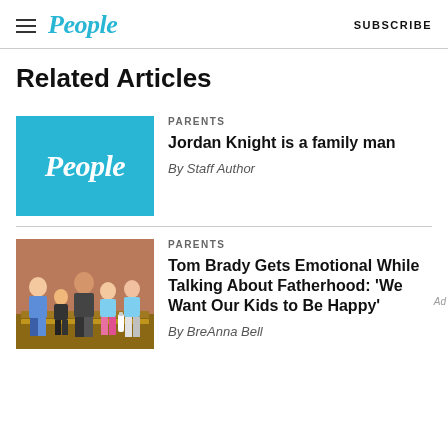People | SUBSCRIBE
Related Articles
[Figure (logo): People magazine logo on blue background]
PARENTS
Jordan Knight is a family man
By Staff Author
[Figure (photo): Family photo with adults and children sitting on a bench outdoors]
PARENTS
Tom Brady Gets Emotional While Talking About Fatherhood: 'We Want Our Kids to Be Happy'
By BreAnna Bell